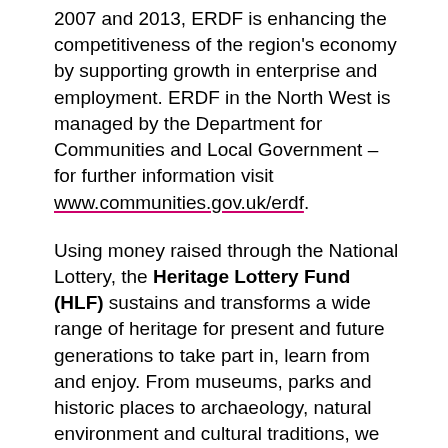2007 and 2013, ERDF is enhancing the competitiveness of the region's economy by supporting growth in enterprise and employment. ERDF in the North West is managed by the Department for Communities and Local Government – for further information visit www.communities.gov.uk/erdf.
Using money raised through the National Lottery, the Heritage Lottery Fund (HLF) sustains and transforms a wide range of heritage for present and future generations to take part in, learn from and enjoy. From museums, parks and historic places to archaeology, natural environment and cultural traditions, we invest in every part of our diverse heritage.  HLF has supported more than 30,000 projects allocating £4.5billion across the UK. www.hlf.org.uk
About National Museums Liverpool